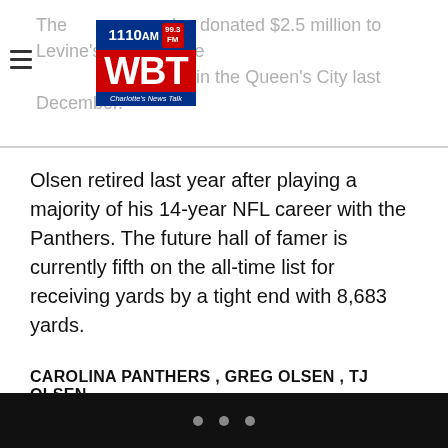The [logo] also donated $2.5 million to Levine's cardiac care [logo] which opened in the Queen's City last December.
Olsen retired last year after playing a majority of his 14-year NFL career with the Panthers. The future hall of famer is currently fifth on the all-time list for receiving yards by a tight end with 8,683 yards.
CAROLINA PANTHERS , GREG OLSEN , TJ OLSEN
• • •